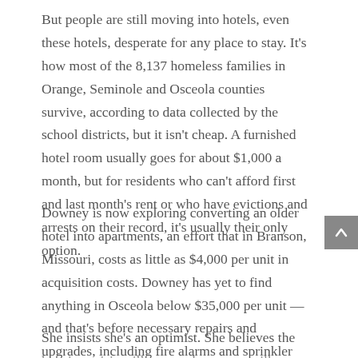But people are still moving into hotels, even these hotels, desperate for any place to stay. It's how most of the 8,137 homeless families in Orange, Seminole and Osceola counties survive, according to data collected by the school districts, but it isn't cheap. A furnished hotel room usually goes for about $1,000 a month, but for residents who can't afford first and last month's rent or who have evictions and arrests on their record, it's usually their only option.
Downey is now exploring converting an older hotel into apartments, an effort that in Branson, Missouri, costs as little as $4,000 per unit in acquisition costs. Downey has yet to find anything in Osceola below $35,000 per unit — and that's before necessary repairs and upgrades, including fire alarms and sprinkler systems to bring the units up to code.
She insists she's an optimist. She believes the housing crisis will ease and progress will resume...